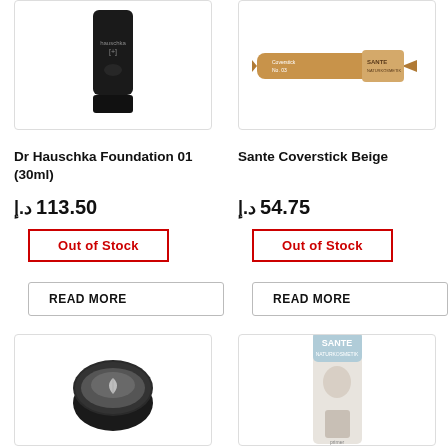[Figure (photo): Dr Hauschka Foundation 01 in a black tube]
[Figure (photo): Sante Coverstick Beige pencil-style product]
Dr Hauschka Foundation 01 (30ml)
Sante Coverstick Beige
113.50 د.إ
54.75 د.إ
Out of Stock
Out of Stock
READ MORE
READ MORE
[Figure (photo): Black circular pot with leaf logo]
[Figure (photo): Sante product in white packaging]